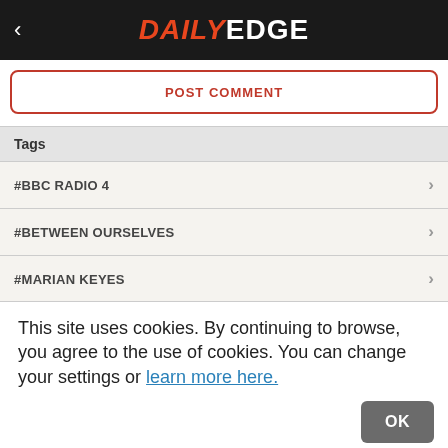DAILY EDGE
POST COMMENT
Tags
#BBC RADIO 4
#BETWEEN OURSELVES
#MARIAN KEYES
This site uses cookies. By continuing to browse, you agree to the use of cookies. You can change your settings or learn more here.